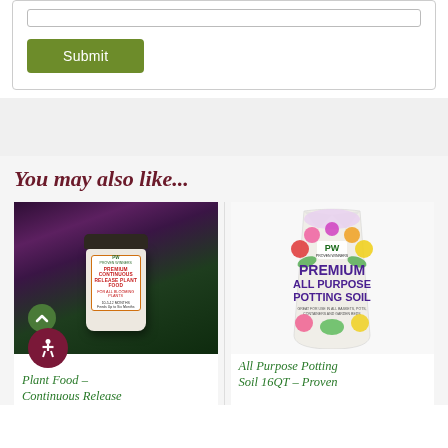[Figure (screenshot): White form area with a text input bar and a green Submit button]
You may also like...
[Figure (photo): Product photo of PW Proven Winners Premium Continuous Release Plant Food jar against purple and green foliage background]
Plant Food – Continuous Release
[Figure (photo): Product photo of PW Proven Winners Premium All Purpose Potting Soil bag on white background]
All Purpose Potting Soil 16QT – Proven